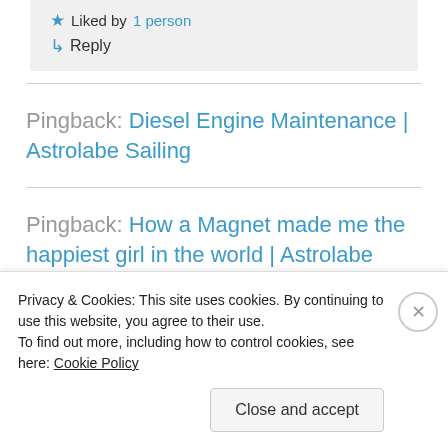★ Liked by 1 person
↳ Reply
Pingback: Diesel Engine Maintenance | Astrolabe Sailing
Pingback: How a Magnet made me the happiest girl in the world | Astrolabe Sailing
Advertisements
Privacy & Cookies: This site uses cookies. By continuing to use this website, you agree to their use. To find out more, including how to control cookies, see here: Cookie Policy
Close and accept